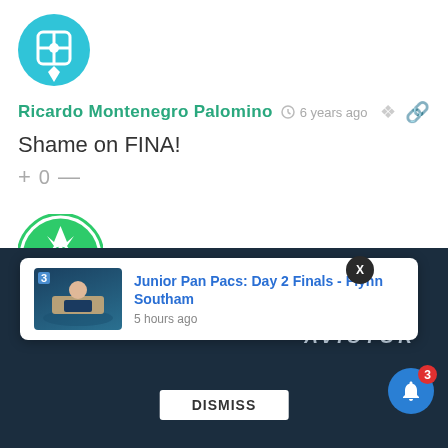[Figure (illustration): Blue circular avatar with a grid/crosshair icon — user avatar for Ricardo Montenegro Palomino]
Ricardo Montenegro Palomino  6 years ago
Shame on FINA!
+ 0 —
[Figure (illustration): Green circular avatar with geometric snowflake pattern — user avatar for Simona De Lullo]
Simona De Lullo  6 years ago
Fuxxing unbelievable
+ 0 —
[Figure (screenshot): Notification card overlay: Junior Pan Pacs: Day 2 Finals - Flynn Southam, 5 hours ago, with swimmer image and number 3 label. DISMISS button below. Bell icon with badge 3 in bottom right. AVICTOR text in background.]